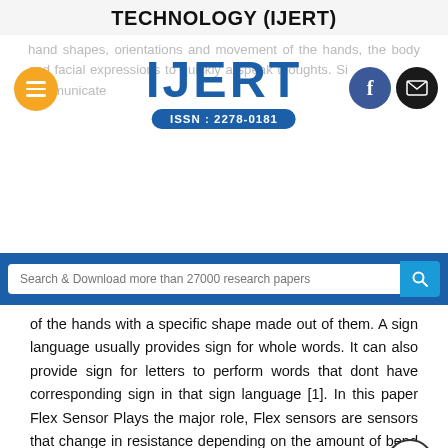TECHNOLOGY (IJERT)
[Figure (logo): IJERT logo with ISSN: 2278-0181 badge, orange hamburger menu button on left, Facebook and email buttons on right, faded background text about hand shapes, orientations and movement of the hands]
Search & Download more than 27000 research papers
of the hands with a specific shape made out of them. A sign language usually provides sign for whole words. It can also provide sign for letters to perform words that dont have corresponding sign in that sign language [1]. In this paper Flex Sensor Plays the major role, Flex sensors are sensors that change in resistance depending on the amount of bend on the sensor.
In this paper we propose a Sign Language